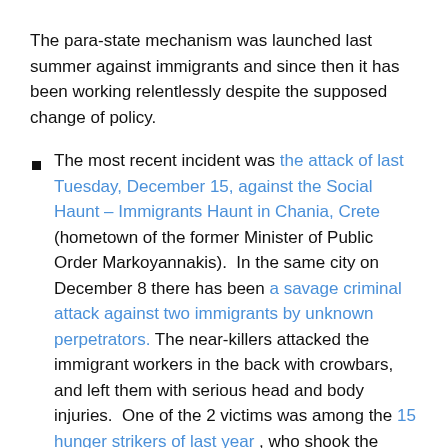The para-state mechanism was launched last summer against immigrants and since then it has been working relentlessly despite the supposed change of policy.
The most recent incident was the attack of last Tuesday, December 15, against the Social Haunt – Immigrants Haunt in Chania, Crete (hometown of the former Minister of Public Order Markoyannakis).  In the same city on December 8 there has been a savage criminal attack against two immigrants by unknown perpetrators. The near-killers attacked the immigrant workers in the back with crowbars, and left them with serious head and body injuries.  One of the 2 victims was among the 15 hunger strikers of last year , who shook the island of Crete with their proud struggle. The intensity of the attacks in Chania definitely is related to